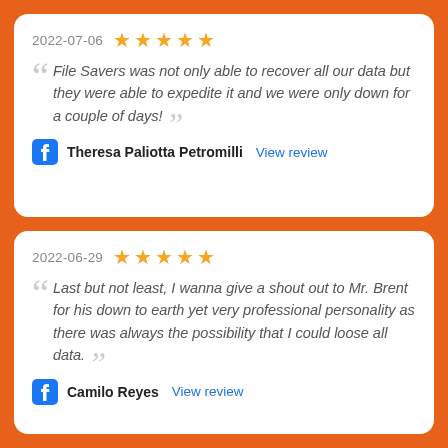2022-07-06 ★★★★★
File Savers was not only able to recover all our data but they were able to expedite it and we were only down for a couple of days!
Theresa Paliotta Petromilli View review
2022-06-29 ★★★★★
Last but not least, I wanna give a shout out to Mr. Brent for his down to earth yet very professional personality as there was always the possibility that I could loose all data.
Camilo Reyes View review